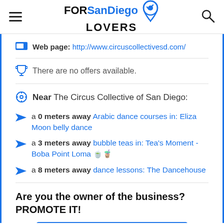FORSanDiego LOVERS
Web page: http://www.circuscollectivesd.com/
There are no offers available.
Near The Circus Collective of San Diego:
a 0 meters away Arabic dance courses in: Eliza Moon belly dance
a 3 meters away bubble teas in: Tea's Moment - Boba Point Loma
a 8 meters away dance lessons: The Dancehouse
Are you the owner of the business? PROMOTE IT!
BE THE 1ST IN THE RANKING